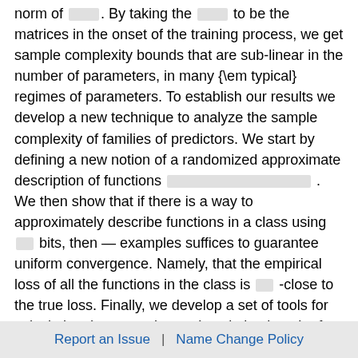norm of [blank]. By taking the [blank] to be the matrices in the onset of the training process, we get sample complexity bounds that are sub-linear in the number of parameters, in many {\em typical} regimes of parameters. To establish our results we develop a new technique to analyze the sample complexity of families of predictors. We start by defining a new notion of a randomized approximate description of functions [blank]. We then show that if there is a way to approximately describe functions in a class using [blank] bits, then — examples suffices to guarantee uniform convergence. Namely, that the empirical loss of all the functions in the class is [blank] -close to the true loss. Finally, we develop a set of tools for calculating the approximate description length of classes of functions that can be presented as a composition of linear function classes and non-linear functions.
Report an Issue  |  Name Change Policy